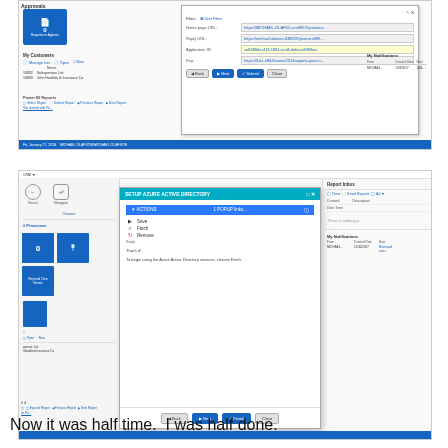[Figure (screenshot): Screenshot of a Microsoft Dynamics CRM web application showing an Approvals dashboard with a blue tile showing 0 Requests for Approval, a My Customers panel, and an Issue Management Portal dialog box with form fields for Home page URL, Reply URL, Application ID, and Key. Buttons for Back, Next, Submit, and Close are visible. A bottom blue bar shows navigation info.]
[Figure (screenshot): Screenshot of a Microsoft Dynamics CRM application showing a Setup Azure Active Directory dialog with ACTIONS panel listing Save, Fetch, Remove options. Text reads 'That's it! To begin using the Azure Active Directory services, choose Fetch.' A right panel shows Report Inbox with columns: Done, Email Reports, Created Date Time, Description, and My Notifications with From, Created Date, Next columns and a data row.]
Now it was half time.  I was half done.